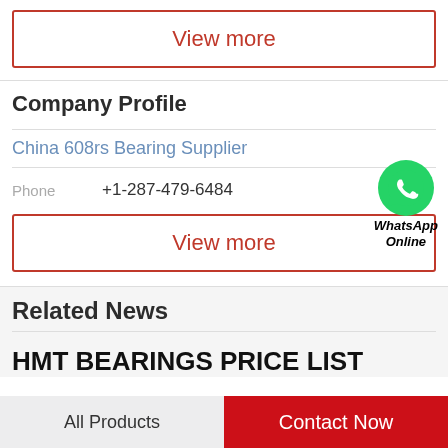View more
Company Profile
China 608rs Bearing Supplier
Phone   +1-287-479-6484
[Figure (logo): WhatsApp green logo icon with text WhatsApp Online]
View more
Related News
HMT BEARINGS PRICE LIST
All Products
Contact Now